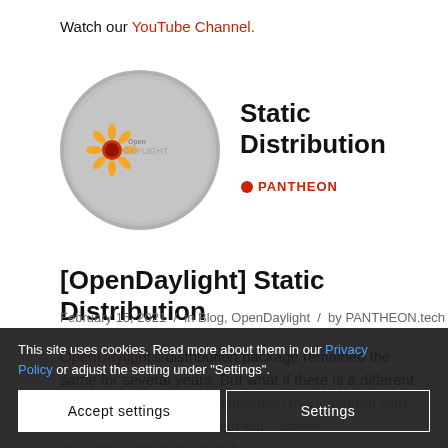Watch our YouTube Channel.
[Figure (logo): OpenDaylight logo on grey circle background with sunflower/daisy icon and text 'OpenDaylight']
Static Distribution
[Figure (logo): PANTHEON logo in red text]
[OpenDaylight] Static Distribution
February 15, 2021 / in Blog, OpenDaylight / by PANTHEON.tech
OpenDaylight's distribution package remained the same for several years. But what if there is a different way to do this, making distribution more aligned with the latest container…through our…where…OpenDaylight Static Distrib…sue.
This site uses cookies. Read more about them in our Privacy Policy or adjust the setting under "Settings".
Accept settings
Settings